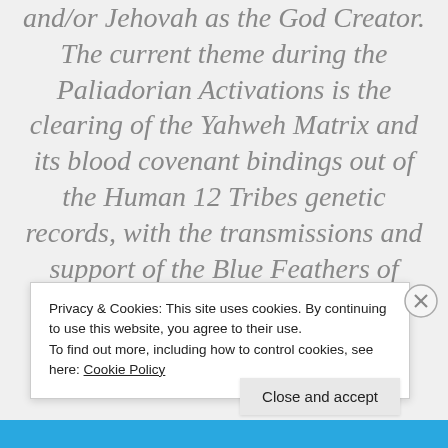and/or Jehovah as the God Creator. The current theme during the Paliadorian Activations is the clearing of the Yahweh Matrix and its blood covenant bindings out of the Human 12 Tribes genetic records, with the transmissions and support of the Blue Feathers of Aquaferion. As a result of
Privacy & Cookies: This site uses cookies. By continuing to use this website, you agree to their use.
To find out more, including how to control cookies, see here: Cookie Policy
Close and accept